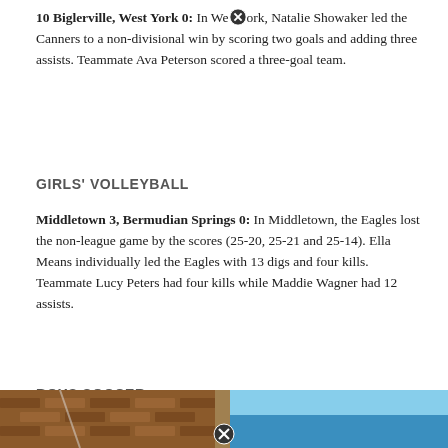10 Biglerville, West York 0: In West York, Natalie Showaker led the Canners to a non-divisional win by scoring two goals and adding three assists. Teammate Ava Peterson scored a three-goal team.
GIRLS' VOLLEYBALL
Middletown 3, Bermudian Springs 0: In Middletown, the Eagles lost the non-league game by the scores (25-20, 25-21 and 25-14). Ella Means individually led the Eagles with 13 digs and four kills. Teammate Lucy Peters had four kills while Maddie Wagner had 12 assists.
BOYS SOCCER
York Suburb 1, Spring Grove 0: In the York Suburban, the Trojans captured the early home win without divisions in shutout fashion. No game statistics were available.
[Figure (photo): Partial photo strip at bottom of page showing building with brick and sky]